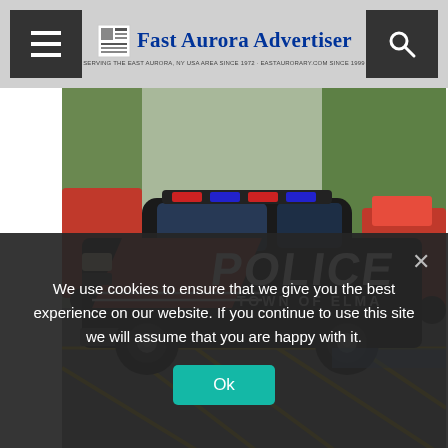Fast Aurora Advertiser — SERVING THE EAST AURORA, NY USA AREA SINCE 1972 · EASTAURORARY.COM SINCE 1999
[Figure (photo): Black and red Town of Elma Police car parked in a parking lot with yellow lines. Other vehicles visible in background including red trucks.]
Iroquois to Bring School Resource Officers to Each District Building
We use cookies to ensure that we give you the best experience on our website. If you continue to use this site we will assume that you are happy with it.